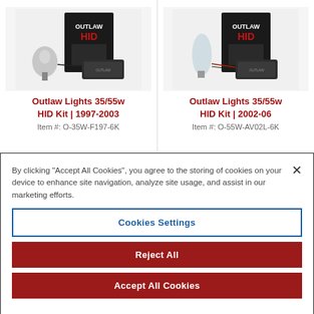[Figure (photo): Outlaw HID product kit showing HID bulbs, ballast, and black box packaging with Outlaw HID logo]
Outlaw Lights 35/55w HID Kit | 1997-2003
Item #: O-35W-F197-6K
[Figure (photo): Outlaw HID product kit showing HID bulbs, ballast, and black box packaging with Outlaw HID logo]
Outlaw Lights 35/55w HID Kit | 2002-06
Item #: O-55W-AV02L-6K
By clicking “Accept All Cookies”, you agree to the storing of cookies on your device to enhance site navigation, analyze site usage, and assist in our marketing efforts.
Cookies Settings
Reject All
Accept All Cookies